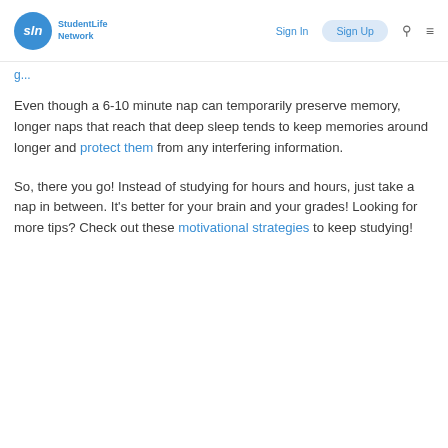StudentLife Network | Sign In | Sign Up
Even though a 6-10 minute nap can temporarily preserve memory, longer naps that reach that deep sleep tends to keep memories around longer and protect them from any interfering information.
So, there you go! Instead of studying for hours and hours, just take a nap in between. It's better for your brain and your grades! Looking for more tips? Check out these motivational strategies to keep studying!